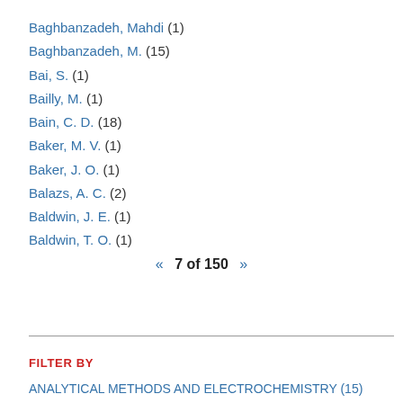Baghbanzadeh, Mahdi (1)
Baghbanzadeh, M. (15)
Bai, S. (1)
Bailly, M. (1)
Bain, C. D. (18)
Baker, M. V. (1)
Baker, J. O. (1)
Balazs, A. C. (2)
Baldwin, J. E. (1)
Baldwin, T. O. (1)
« 7 of 150 »
FILTER BY
ANALYTICAL METHODS AND ELECTROCHEMISTRY (15)